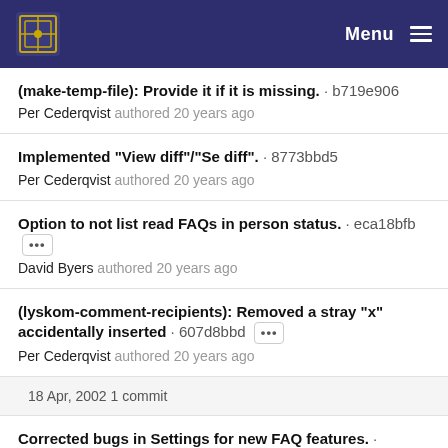Menu
(make-temp-file): Provide it if it is missing. · b719e906
Per Cederqvist authored 20 years ago
Implemented "View diff"/"Se diff". · 8773bbd5
Per Cederqvist authored 20 years ago
Option to not list read FAQs in person status. · eca18bfb
David Byers authored 20 years ago
(lyskom-comment-recipients): Removed a stray "x" accidentally inserted · 607d8bbd
Per Cederqvist authored 20 years ago
18 Apr, 2002 1 commit
Corrected bugs in Settings for new FAQ features. · f2bee73f
Jonas Frid authored 20 years ago
17 Apr, 2002 1 commit